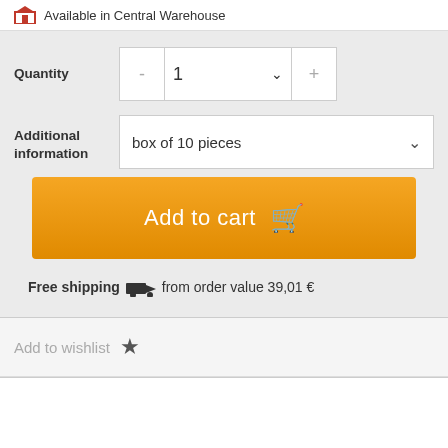Available in Central Warehouse
Quantity  1  -  +
Additional information  box of 10 pieces
[Figure (screenshot): Add to cart button, orange gradient background with white text and shopping cart icon]
Free shipping  from order value 39,01 €
Add to wishlist ★